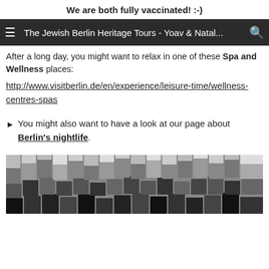We are both fully vaccinated! :-)
The Jewish Berlin Heritage Tours - Yoav & Natal...
After a long day, you might want to relax in one of these Spa and Wellness places:
http://www.visitberlin.de/en/experience/leisure-time/wellness-centres-spas
You might also want to have a look at our page about Berlin's nightlife.
[Figure (photo): Black and white photograph of concrete blocks/stelae, resembling the Holocaust Memorial in Berlin, viewed from an angle showing rows of rectangular blocks of varying heights.]